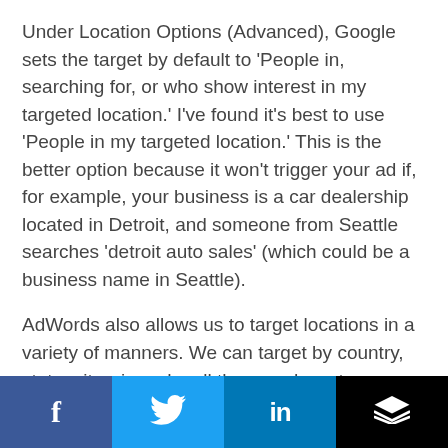Under Location Options (Advanced), Google sets the target by default to 'People in, searching for, or who show interest in my targeted location.' I've found it's best to use 'People in my targeted location.' This is the better option because it won't trigger your ad if, for example, your business is a car dealership located in Detroit, and someone from Seattle searches 'detroit auto sales' (which could be a business name in Seattle).
AdWords also allows us to target locations in a variety of manners. We can target by country, state, city, zip code, all the way down to a physical address.
[Figure (infographic): Social sharing bar at the bottom with four icons: Facebook (dark blue), Twitter (light blue), LinkedIn (medium blue), and a stack/layers icon (black background).]